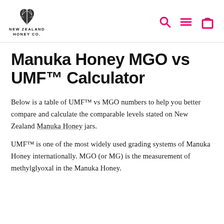NEW ZEALAND HONEY CO.
Manuka Honey MGO vs UMF™ Calculator
Below is a table of UMF™ vs MGO numbers to help you better compare and calculate the comparable levels stated on New Zealand Manuka Honey jars.
UMF™ is one of the most widely used grading systems of Manuka Honey internationally. MGO (or MG) is the measurement of methylglyoxal in the Manuka Honey.